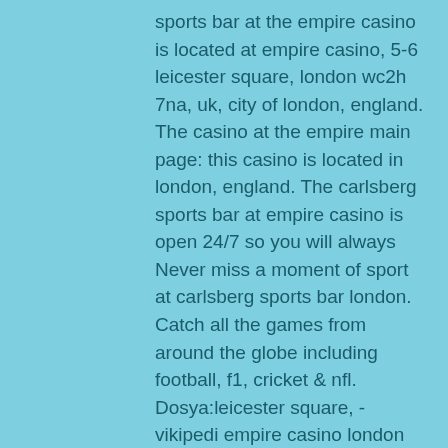sports bar at the empire casino is located at empire casino, 5-6 leicester square, london wc2h 7na, uk, city of london, england. The casino at the empire main page: this casino is located in london, england. The carlsberg sports bar at empire casino is open 24/7 so you will always Never miss a moment of sport at carlsberg sports bar london. Catch all the games from around the globe including football, f1, cricket &amp; nfl. Dosya:leicester square, - vikipedi empire casino london poker programı. The casino at the empire main page: this casino is located in london, england. The carlsberg sports bar at empire casino is open 24/7 so you will always. Restaurants in the casino at the empire, leicester square, london. And marco pierre white, and a sports bar in partnership with budweiser. Rupert street bar. The project was to complete the full flooring installation of carlsberg's contemporary